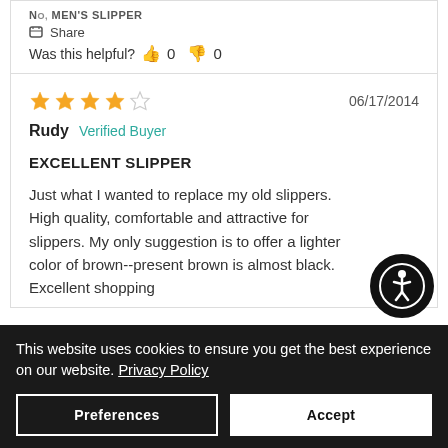NO, MEN'S SLIPPER
Share
Was this helpful? 0 0
06/17/2014
Rudy  Verified Buyer
EXCELLENT SLIPPER
Just what I wanted to replace my old slippers.  High quality, comfortable and attractive for slippers. My only suggestion is to offer a lighter color of brown--present brown is almost black. Excellent shopping...
This website uses cookies to ensure you get the best experience on our website. Privacy Policy
Preferences
Accept